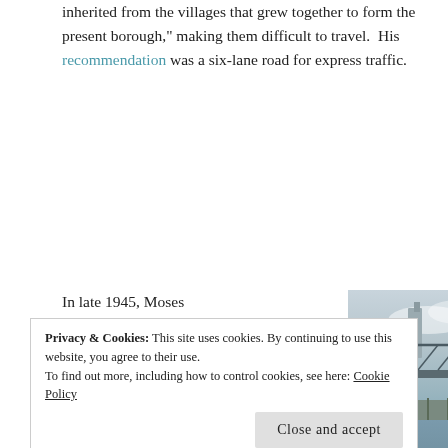inherited from the villages that grew together to form the present borough,” making them difficult to travel. His recommendation was a six-lane road for express traffic.
In late 1945, Moses incorporated the Brooklyn-Queens Expressway into his
[Figure (photo): Kosciuszko Bridge over Newtown Creek, a steel truss bridge photographed from the water with bare tree branches in the foreground and a tall building visible in the background.]
Kosciuszko Bridge over Newtown Creek
Privacy & Cookies: This site uses cookies. By continuing to use this website, you agree to their use.
To find out more, including how to control cookies, see here: Cookie Policy
Close and accept
road between the Williamsburg and Kosciuszko